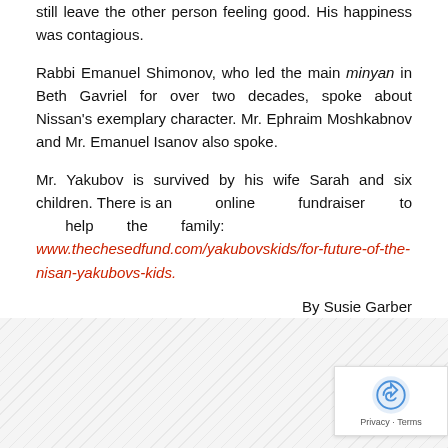still leave the other person feeling good. His happiness was contagious.
Rabbi Emanuel Shimonov, who led the main minyan in Beth Gavriel for over two decades, spoke about Nissan's exemplary character. Mr. Ephraim Moshkabnov and Mr. Emanuel Isanov also spoke.
Mr. Yakubov is survived by his wife Sarah and six children. There is an online fundraiser to help the family: www.thechesedfund.com/yakubovskids/for-future-of-the-nisan-yakubovs-kids.
By Susie Garber
[Figure (other): Social sharing buttons: Facebook, Twitter, and a share/add button]
[Figure (other): reCAPTCHA badge with Privacy and Terms links]